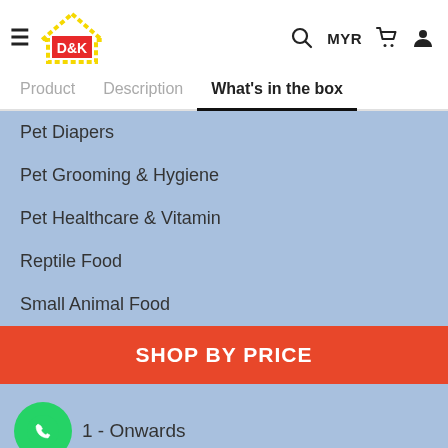[Figure (logo): D&K logo with yellow house outline and red D&K text]
Product   Description   What's in the box
Pet Diapers
Pet Grooming & Hygiene
Pet Healthcare & Vitamin
Reptile Food
Small Animal Food
SHOP BY PRICE
1 - Onwards
INFORMATION
FAQ